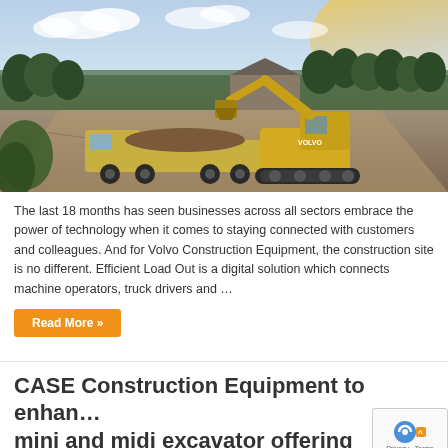[Figure (photo): Construction site photograph showing a large yellow Volvo excavator loading dirt onto a truck on a dirt road, with trees and sky in background]
The last 18 months has seen businesses across all sectors embrace the power of technology when it comes to staying connected with customers and colleagues. And for Volvo Construction Equipment, the construction site is no different. Efficient Load Out is a digital solution which connects machine operators, truck drivers and …
Read More »
CASE Construction Equipment to enhan… mini and midi excavator offering